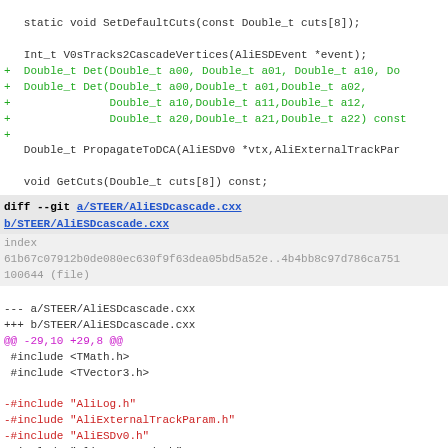static void SetDefaultCuts(const Double_t cuts[8]);

   Int_t V0sTracks2CascadeVertices(AliESDEvent *event);
+  Double_t Det(Double_t a00, Double_t a01, Double_t a10, Do
+  Double_t Det(Double_t a00,Double_t a01,Double_t a02,
+               Double_t a10,Double_t a11,Double_t a12,
+               Double_t a20,Double_t a21,Double_t a22) const
+
   Double_t PropagateToDCA(AliESDv0 *vtx,AliExternalTrackPar

   void GetCuts(Double_t cuts[8]) const;
diff --git a/STEER/AliESDcascade.cxx b/STEER/AliESDcascade.cxx
index
61b67c07912b0de080ec630f9f63dea05bd5a52e..4b4bb8c97d786ca751
100644 (file)
--- a/STEER/AliESDcascade.cxx
+++ b/STEER/AliESDcascade.cxx
@@ -29,10 +29,8 @@
 #include <TMath.h>
 #include <TVector3.h>

-#include "AliLog.h"
-#include "AliExternalTrackParam.h"
-#include "AliESDv0.h"
 #include "AliESDcascade.h"
+#include "AliLog.h"

 ClassImp(AliESDcascade)